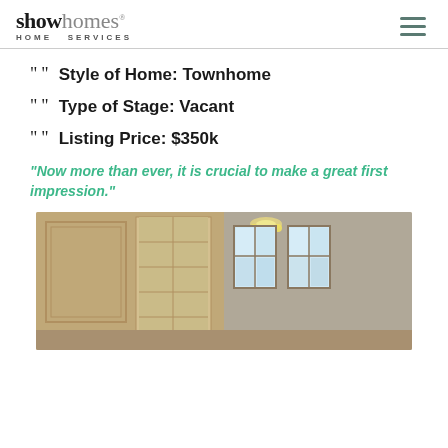showhomes HOME SERVICES
Style of Home: Townhome
Type of Stage: Vacant
Listing Price: $350k
"Now more than ever, it is crucial to make a great first impression."
[Figure (photo): Interior room of an empty townhome showing built-in shelving unit, a chandelier, and two windows in the background with natural light]